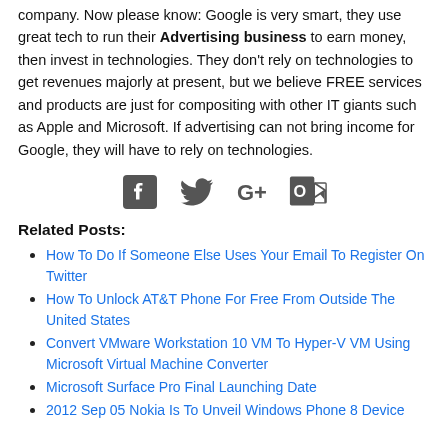company. Now please know: Google is very smart, they use great tech to run their **Advertising business** to earn money, then invest in technologies. They don't rely on technologies to get revenues majorly at present, but we believe FREE services and products are just for compositing with other IT giants such as Apple and Microsoft. If advertising can not bring income for Google, they will have to rely on technologies.
[Figure (illustration): Social sharing icons: Facebook, Twitter, Google+, Outlook/Office]
Related Posts:
How To Do If Someone Else Uses Your Email To Register On Twitter
How To Unlock AT&T Phone For Free From Outside The United States
Convert VMware Workstation 10 VM To Hyper-V VM Using Microsoft Virtual Machine Converter
Microsoft Surface Pro Final Launching Date
2012 Sep 05 Nokia Is To Unveil Windows Phone 8 Device